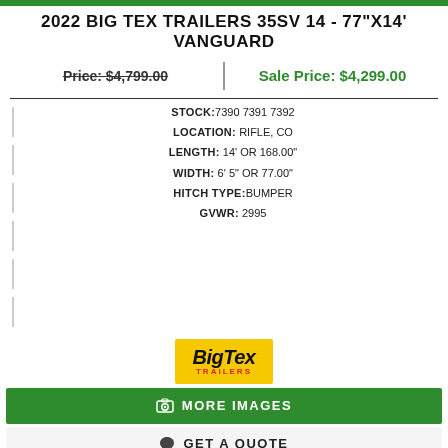2022 BIG TEX TRAILERS 35SV 14 - 77"X14' VANGUARD
Price: $4,799.00 | Sale Price: $4,299.00
STOCK: 7390 7391 7392
LOCATION: RIFLE, CO
LENGTH: 14' OR 168.00"
WIDTH: 6' 5" OR 77.00"
HITCH TYPE: BUMPER
GVWR: 2995
[Figure (logo): Big Tex Trailers logo on yellow background]
MORE IMAGES
GET A QUOTE